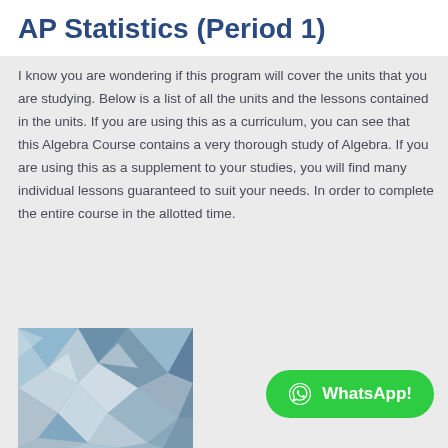AP Statistics (Period 1)
I know you are wondering if this program will cover the units that you are studying. Below is a list of all the units and the lessons contained in the units. If you are using this as a curriculum, you can see that this Algebra Course contains a very thorough study of Algebra. If you are using this as a supplement to your studies, you will find many individual lessons guaranteed to suit your needs. In order to complete the entire course in the allotted time.
[Figure (illustration): Abstract low-poly geometric illustration with blue, grey, and white triangular facets]
WhatsApp!